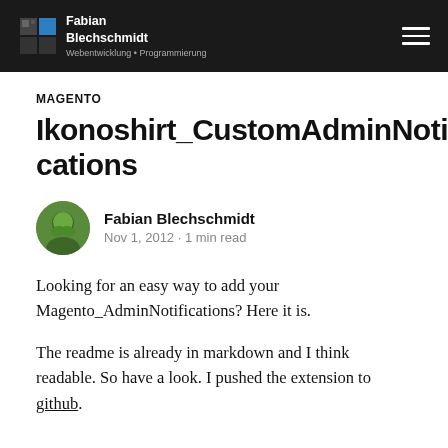Fabian Blechschmidt – Webentwicklung • Programmierung
MAGENTO
Ikonoshirt_CustomAdminNotifications
Fabian Blechschmidt · Nov 1, 2012 · 1 min read
Looking for an easy way to add your Magento_AdminNotifications? Here it is.
The readme is already in markdown and I think readable. So have a look. I pushed the extension to github.